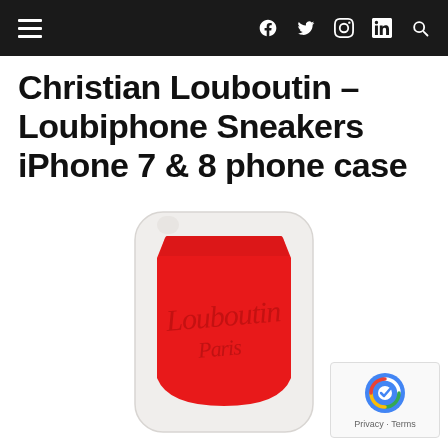≡  f  𝕥  ⊙  in  🔍
Christian Louboutin – Loubiphone Sneakers iPhone 7 & 8 phone case
[Figure (photo): A Christian Louboutin Loubiphone iPhone 7 & 8 phone case. White outer shell with red sneaker-tongue-shaped inlay featuring Louboutin script logo embossed in dark red. Photographed on a white background.]